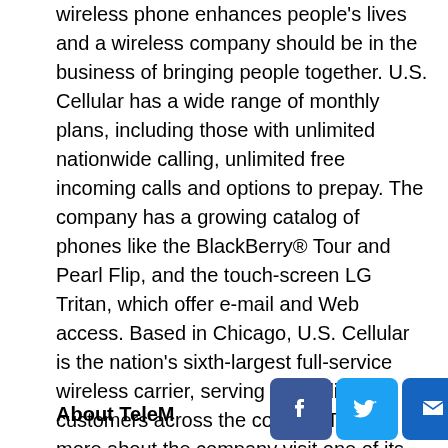wireless phone enhances people's lives and a wireless company should be in the business of bringing people together. U.S. Cellular has a wide range of monthly plans, including those with unlimited nationwide calling, unlimited free incoming calls and options to prepay. The company has a growing catalog of phones like the BlackBerry® Tour and Pearl Flip, and the touch-screen LG Tritan, which offer e-mail and Web access. Based in Chicago, U.S. Cellular is the nation's sixth-largest full-service wireless carrier, serving 6.2 million customers across the country. To learn more about the company visit one of its retail stores or www.uscellular.com.
About TeleM...
[Figure (infographic): Social sharing bar with four buttons: Facebook (f icon), Twitter (bird icon), Email (envelope icon), and Plus/share (+) icon, all on blue rounded square backgrounds.]